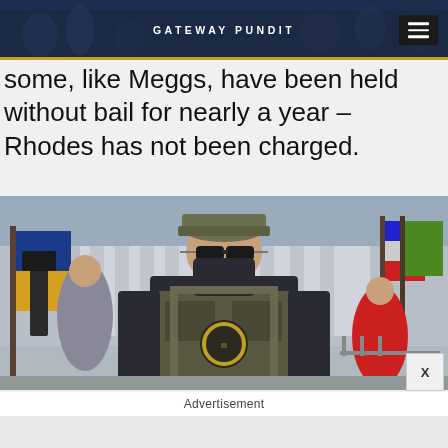GATEWAY PUNDIT
some, like Meggs, have been held without bail for nearly a year – Rhodes has not been charged.
[Figure (photo): A masked man wearing tactical gear and a Oathkeepers patch on a vest, camouflage hat and sunglasses, standing in front of what appears to be a government building with flags and people in background]
Advertisement